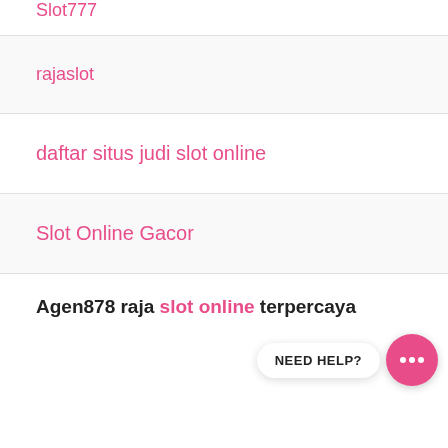Slot777
rajaslot
daftar situs judi slot online
Slot Online Gacor
Agen878 raja slot online terpercaya